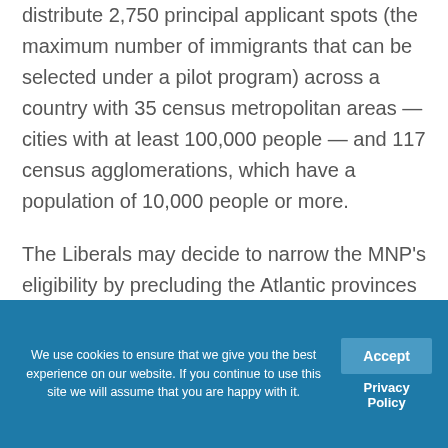distribute 2,750 principal applicant spots (the maximum number of immigrants that can be selected under a pilot program) across a country with 35 census metropolitan areas — cities with at least 100,000 people — and 117 census agglomerations, which have a population of 10,000 people or more.
The Liberals may decide to narrow the MNP's eligibility by precluding the Atlantic provinces and all designated communities under the RNIP from using
We use cookies to ensure that we give you the best experience on our website. If you continue to use this site we will assume that you are happy with it.